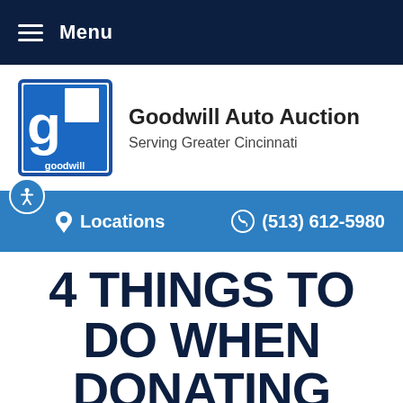Menu
[Figure (logo): Goodwill logo — white letter g with comma on blue square background with 'goodwill' text below]
Goodwill Auto Auction
Serving Greater Cincinnati
Locations   (513) 612-5980
4 THINGS TO DO WHEN DONATING YOUR CAR TO